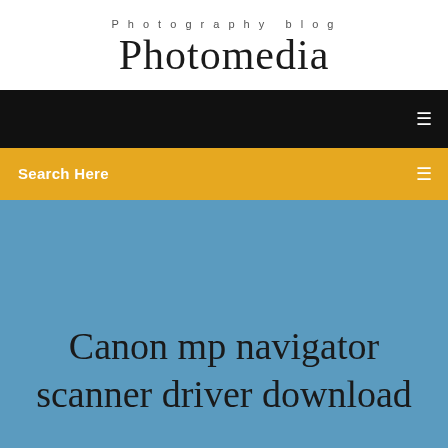Photography blog
Photomedia
[Figure (screenshot): Black navigation bar with a small menu icon on the right]
Search Here
Canon mp navigator scanner driver download